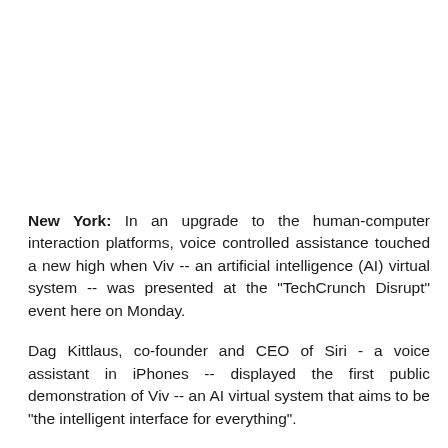New York: In an upgrade to the human-computer interaction platforms, voice controlled assistance touched a new high when Viv -- an artificial intelligence (AI) virtual system -- was presented at the "TechCrunch Disrupt" event here on Monday.
Dag Kittlaus, co-founder and CEO of Siri - a voice assistant in iPhones -- displayed the first public demonstration of Viv -- an AI virtual system that aims to be "the intelligent interface for everything".